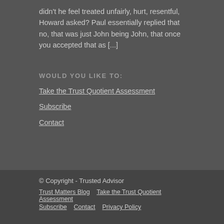didn't he feel treated unfairly, hurt, resentful, Howard asked? Paul essentially replied that no, that was just John being John, that once you accepted that as [...]
WOULD YOU LIKE TO:
Take the Trust Quotient Assessment
Subscribe
Contact
© Copyright - Trusted Advisor
Trust Matters Blog   Take the Trust Quotient Assessment
Subscribe   Contact   Privacy Policy